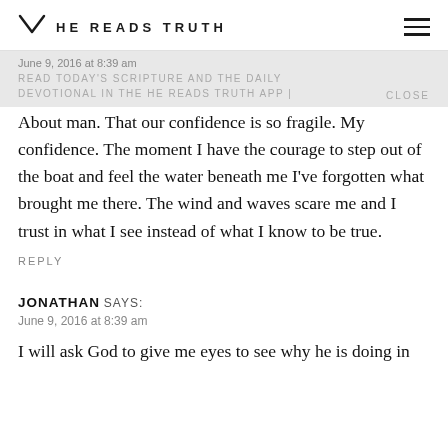HE READS TRUTH
June 9, 2016 at 8:39 am
READ TODAY'S SCRIPTURE AND THE DAILY DEVOTIONAL IN THE HE READS TRUTH APP | CLOSE
About man. That our confidence is so fragile. My confidence. The moment I have the courage to step out of the boat and feel the water beneath me I've forgotten what brought me there. The wind and waves scare me and I trust in what I see instead of what I know to be true.
REPLY
JONATHAN SAYS:
June 9, 2016 at 8:39 am
I will ask God to give me eyes to see why he is doing in